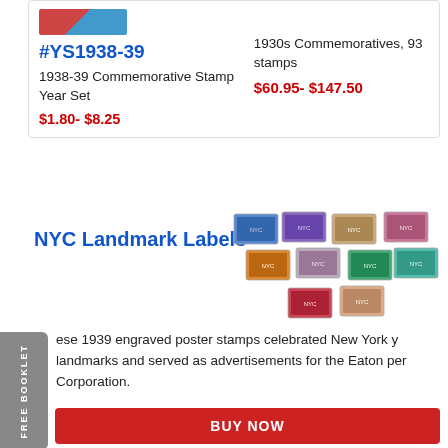#YS1938-39
1938-39 Commemorative Stamp Year Set
$1.80- $8.25
1930s Commemoratives, 93 stamps
$60.95- $147.50
NYC Landmark Labels
[Figure (illustration): A grid of 10 engraved poster stamps depicting NYC landmarks in various colors (blue, purple, tan, pink, orange, green, red)]
ese 1939 engraved poster stamps celebrated New York y landmarks and served as advertisements for the Eaton per Corporation.
.95
BUY NOW